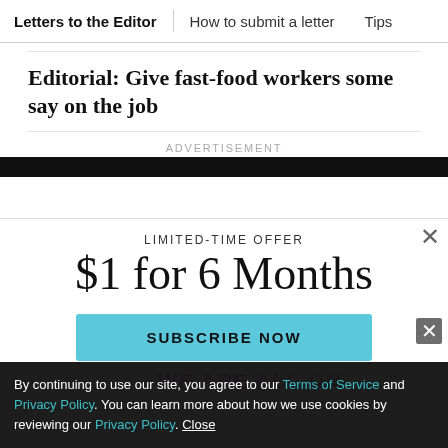Letters to the Editor | How to submit a letter | Tips
Editorial: Give fast-food workers some say on the job
ADVERTISEMENT
[Figure (other): Advertisement banner black bar]
LIMITED-TIME OFFER
$1 for 6 Months
SUBSCRIBE NOW
By continuing to use our site, you agree to our Terms of Service and Privacy Policy. You can learn more about how we use cookies by reviewing our Privacy Policy. Close